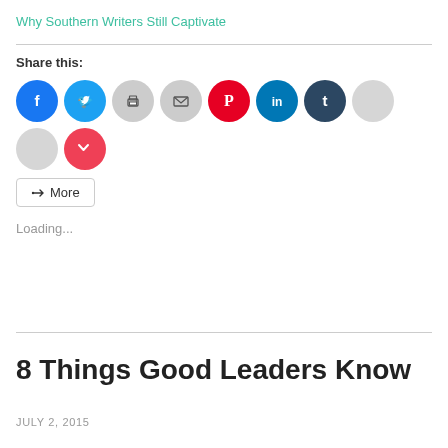Why Southern Writers Still Captivate
Share this:
[Figure (other): Social sharing icons: Facebook, Twitter, Print, Email, Pinterest, LinkedIn, Tumblr, two empty circles, Pocket]
More
Loading...
8 Things Good Leaders Know
JULY 2, 2015